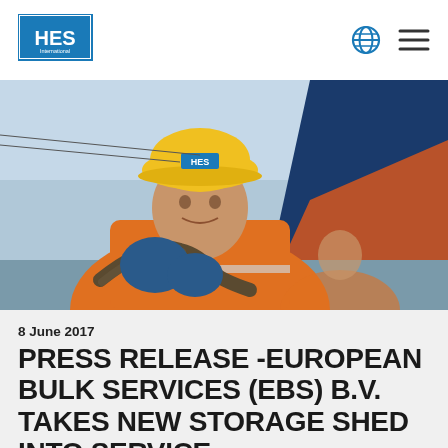HES International
[Figure (photo): A dockworker wearing an orange high-visibility jacket, yellow HES hard hat, and blue rubber gloves, holding a thick rope. In the background is a large ship hull and open water/sky.]
8 June 2017
PRESS RELEASE -EUROPEAN BULK SERVICES (EBS) B.V. TAKES NEW STORAGE SHED INTO SERVICE